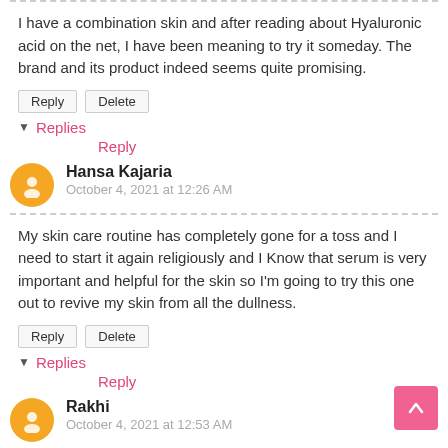I have a combination skin and after reading about Hyaluronic acid on the net, I have been meaning to try it someday. The brand and its product indeed seems quite promising.
Reply  Delete
▼ Replies
        Reply
Hansa Kajaria
October 4, 2021 at 12:26 AM
My skin care routine has completely gone for a toss and I need to start it again religiously and I Know that serum is very important and helpful for the skin so I'm going to try this one out to revive my skin from all the dullness.
Reply  Delete
▼ Replies
        Reply
Rakhi
October 4, 2021 at 12:53 AM
Hyaluronic acid is indeed one of the magical ingredients